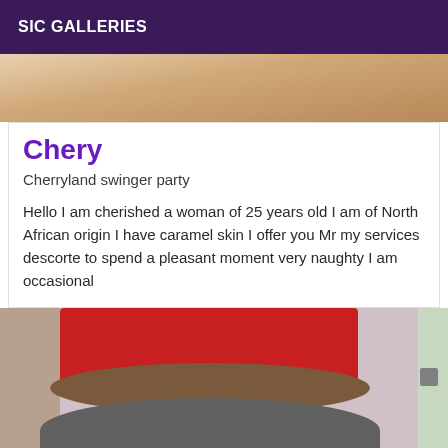SIC GALLERIES
[Figure (photo): Partial top portion of a person's body, skin-toned background]
Chery
Cherryland swinger party
Hello I am cherished a woman of 25 years old I am of North African origin I have caramel skin I offer you Mr my services descorte to spend a pleasant moment very naughty I am occasional
[Figure (photo): Person wearing a red top and grey denim shorts, viewed from behind, standing in a room with light purple/white walls]